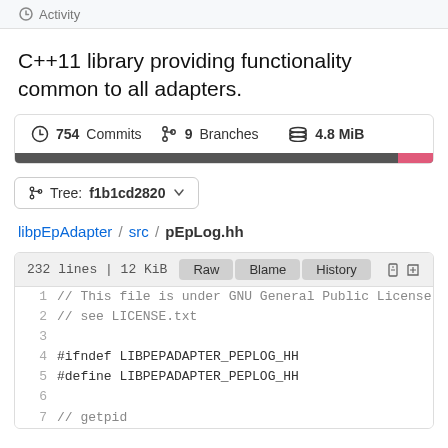Activity
C++11 library providing functionality common to all adapters.
754 Commits   9 Branches   4.8 MiB
Tree: f1b1cd2820
libpEpAdapter / src / pEpLog.hh
232 lines | 12 KiB   Raw   Blame   History
1  // This file is under GNU General Public License 3
2  // see LICENSE.txt
3
4  #ifndef LIBPEPADAPTER_PEPLOG_HH
5  #define LIBPEPADAPTER_PEPLOG_HH
6
7  // getpid